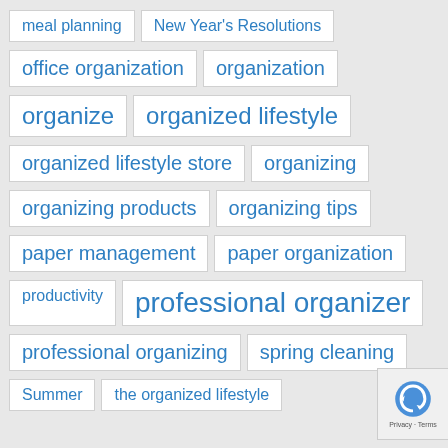meal planning
New Year's Resolutions
office organization
organization
organize
organized lifestyle
organized lifestyle store
organizing
organizing products
organizing tips
paper management
paper organization
productivity
professional organizer
professional organizing
spring cleaning
Summer
the organized lifestyle